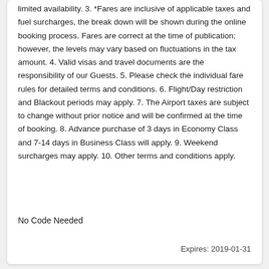limited availability. 3. *Fares are inclusive of applicable taxes and fuel surcharges, the break down will be shown during the online booking process. Fares are correct at the time of publication; however, the levels may vary based on fluctuations in the tax amount. 4. Valid visas and travel documents are the responsibility of our Guests. 5. Please check the individual fare rules for detailed terms and conditions. 6. Flight/Day restriction and Blackout periods may apply. 7. The Airport taxes are subject to change without prior notice and will be confirmed at the time of booking. 8. Advance purchase of 3 days in Economy Class and 7-14 days in Business Class will apply. 9. Weekend surcharges may apply. 10. Other terms and conditions apply.
No Code Needed
Expires: 2019-01-31